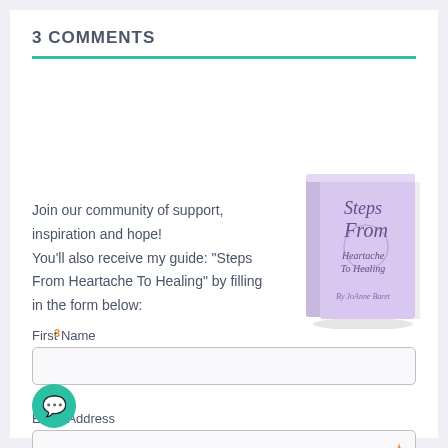3 COMMENTS
Join our community of support, inspiration and hope! You'll also receive my guide: "Steps From Heartache To Healing" by filling in the form below:
[Figure (illustration): A light purple book with the title 'Steps From Heartache To Healing' written in cursive script, shown at an angle.]
First Name
Email Address